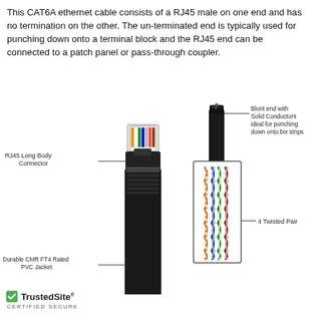This CAT6A ethernet cable consists of a RJ45 male on one end and has no termination on the other. The un-terminated end is typically used for punching down onto a terminal block and the RJ45 end can be connected to a patch panel or pass-through coupler.
[Figure (engineering-diagram): Diagram of a CAT6A ethernet cable with labeled parts: RJ45 Long Body Connector at top left of cable, Durable CMR FT4 Rated PVC Jacket at bottom left, a blunt unterminated end on the right showing Solid Conductors with label 'Blunt end with Solid Conductors ideal for punching down onto bix strips', and an inset box showing 4 twisted pairs inside the cable with label '4 Twisted Pair'.]
[Figure (logo): TrustedSite CERTIFIED SECURE badge with green checkmark]